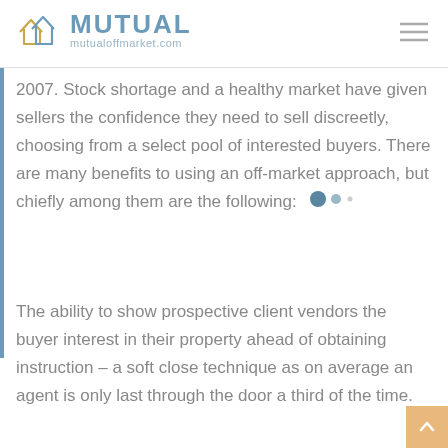MUTUAL mutualoffmarket.com
2007. Stock shortage and a healthy market have given sellers the confidence they need to sell discreetly, choosing from a select pool of interested buyers. There are many benefits to using an off-market approach, but chiefly among them are the following:
The ability to show prospective client vendors the buyer interest in their property ahead of obtaining instruction – a soft close technique as on average an agent is only last through the door a third of the time.
The ability to offer the average client the opportunity